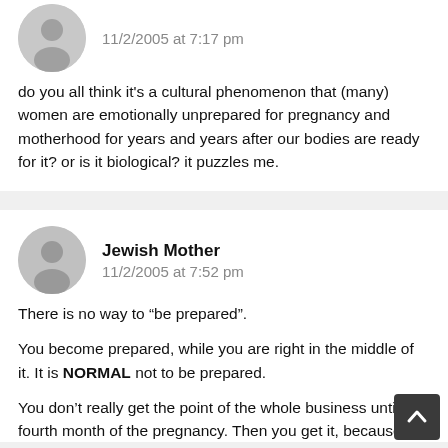[Figure (illustration): Anonymous user avatar (grey circle with silhouette)]
11/2/2005 at 7:17 pm
do you all think it’s a cultural phenomenon that (many) women are emotionally unprepared for pregnancy and motherhood for years and years after our bodies are ready for it? or is it biological? it puzzles me.
[Figure (illustration): Anonymous user avatar (grey circle with silhouette)]
Jewish Mother
11/2/2005 at 7:52 pm
There is no way to “be prepared”.

You become prepared, while you are right in the middle of it. It is NORMAL not to be prepared.

You don’t really get the point of the whole business until the fourth month of the pregnancy. Then you get it, because you feel quickening, the kid wiggles all tickly